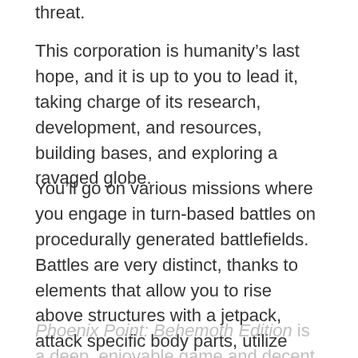threat.
This corporation is humanity’s last hope, and it is up to you to lead it, taking charge of its research, development, and resources, building bases, and exploring a ravaged globe.
You’ll go on various missions where you engage in turn-based battles on procedurally generated battlefields. Battles are very distinct, thanks to elements that allow you to rise above structures with a jetpack, attack specific body parts, utilize missile launchers, and adjust your overwatch cone.
Phoenix Point: Behemoth Edition is a deep, enjoyable game and decent entry into the turn-based strategy